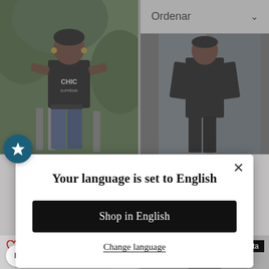[Figure (photo): Fashion photo: woman wearing black CHIC t-shirt and jeans, standing outdoors with green background]
[Figure (screenshot): Ordenar (sort) dropdown bar with chevron]
[Figure (photo): Fashion photo: person wearing all black outfit, standing near glass door]
Your language is set to English
Shop in English
Change language
$39.50  $25.00
[Figure (photo): Bottom left product card with heart icon and Venta badge, light background]
[Figure (photo): Bottom right product card with heart icon and Venta badge, person wearing cap and jacket]
REWARDS